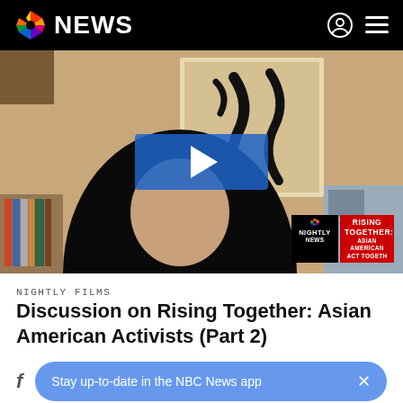NBC NEWS
[Figure (screenshot): Video thumbnail showing a woman with long black hair sitting in front of a wall with framed artwork. A blue play button overlay is centered on the video. Bottom-right corner shows NBC Nightly News and Rising Together: Asian American Act branding badges.]
NIGHTLY FILMS
Discussion on Rising Together: Asian American Activists (Part 2)
Stay up-to-date in the NBC News app